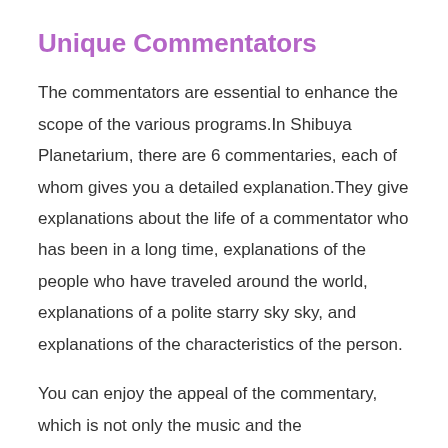Unique Commentators
The commentators are essential to enhance the scope of the various programs.In Shibuya Planetarium, there are 6 commentaries, each of whom gives you a detailed explanation.They give explanations about the life of a commentator who has been in a long time, explanations of the people who have traveled around the world, explanations of a polite starry sky sky, and explanations of the characteristics of the person.
You can enjoy the appeal of the commentary, which is not only the music and the constellations, so you can enjoy the explanation of the place.I think there is a secret that I would like to repeat in a single program.